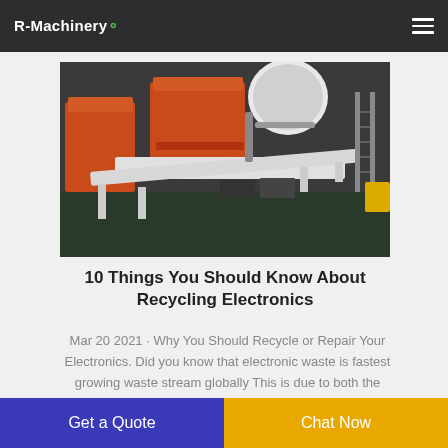R-Machinery
[Figure (photo): Industrial recycling machine with orange and white components, conveyor belt, in a factory setting]
10 Things You Should Know About Recycling Electronics
Mar 20 2021 · Why You Should Recycle or Repair Your Electronics. Did you know that electronic waste is fastest growing waste stream globally This is due to both the shortened lifespan of our electronic devices and societies demands for the newest high-tech products. The
Get a Quote
Chat Now